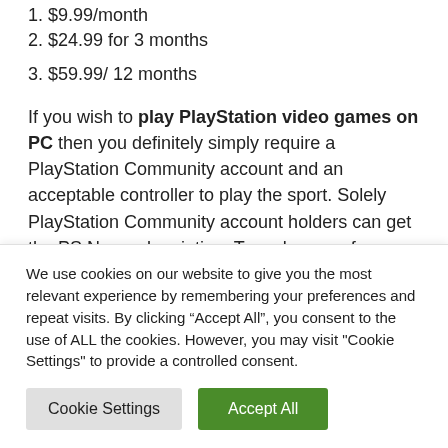1. $9.99/month
2. $24.99 for 3 months
3. $59.99/ 12 months
If you wish to play PlayStation video games on PC then you definitely simply require a PlayStation Community account and an acceptable controller to play the sport. Solely PlayStation Community account holders can get the PS Now subscription. To make use of PlayStation Now customers should
We use cookies on our website to give you the most relevant experience by remembering your preferences and repeat visits. By clicking “Accept All”, you consent to the use of ALL the cookies. However, you may visit "Cookie Settings" to provide a controlled consent.